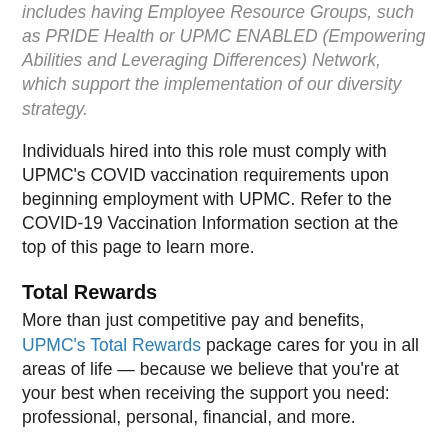includes having Employee Resource Groups, such as PRIDE Health or UPMC ENABLED (Empowering Abilities and Leveraging Differences) Network, which support the implementation of our diversity strategy.
Individuals hired into this role must comply with UPMC's COVID vaccination requirements upon beginning employment with UPMC. Refer to the COVID-19 Vaccination Information section at the top of this page to learn more.
Total Rewards
More than just competitive pay and benefits, UPMC's Total Rewards package cares for you in all areas of life — because we believe that you're at your best when receiving the support you need: professional, personal, financial, and more.